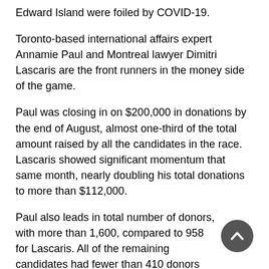Edward Island were foiled by COVID-19.
Toronto-based international affairs expert Annamie Paul and Montreal lawyer Dimitri Lascaris are the front runners in the money side of the game.
Paul was closing in on $200,000 in donations by the end of August, almost one-third of the total amount raised by all the candidates in the race. Lascaris showed significant momentum that same month, nearly doubling his total donations to more than $112,000.
Paul also leads in total number of donors, with more than 1,600, compared to 958 for Lascaris. All of the remaining candidates had fewer than 410 donors each.